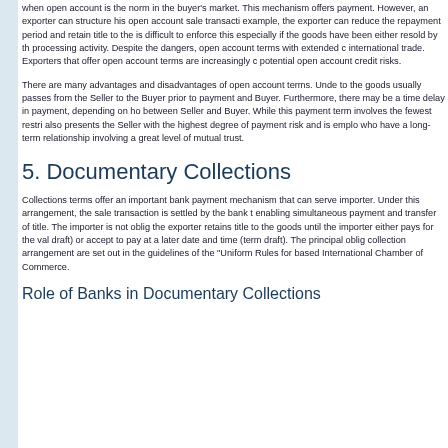when open account is the norm in the buyer's market. This mechanism offers payment. However, an exporter can structure his open account sale transacti example, the exporter can reduce the repayment period and retain title to the is difficult to enforce this especially if the goods have been either resold by th processing activity. Despite the dangers, open account terms with extended c international trade. Exporters that offer open account terms are increasingly c potential open account credit risks.
There are many advantages and disadvantages of open account terms. Unde to the goods usually passes from the Seller to the Buyer prior to payment and Buyer. Furthermore, there may be a time delay in payment, depending on ho between Seller and Buyer. While this payment term involves the fewest restri also presents the Seller with the highest degree of payment risk and is emplo who have a long-term relationship involving a great level of mutual trust.
5. Documentary Collections
Collections terms offer an important bank payment mechanism that can serve importer. Under this arrangement, the sale transaction is settled by the bank t enabling simultaneous payment and transfer of title. The importer is not oblig the exporter retains title to the goods until the importer either pays for the val draft) or accept to pay at a later date and time (term draft). The principal oblig collection arrangement are set out in the guidelines of the "Uniform Rules for based International Chamber of Commerce.
Role of Banks in Documentary Collections